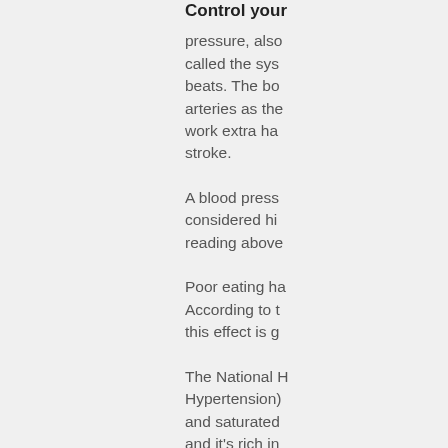Control your
pressure, also called the sys beats. The bo arteries as the work extra ha stroke.
A blood press considered hi reading above
Poor eating ha According to t this effect is g
The National H Hypertension) and saturated and it's rich in
It's important t visits. High blo groups, incluc condition is kr changes alon may also be n
Report NHI B